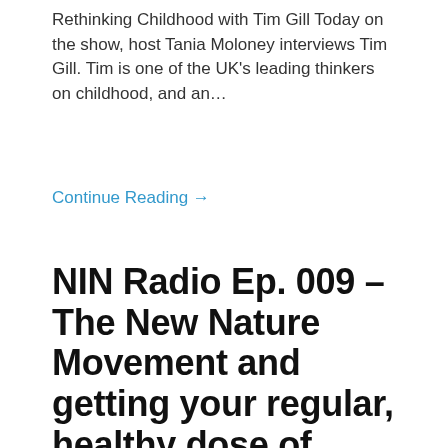Rethinking Childhood with Tim Gill Today on the show, host Tania Moloney interviews Tim Gill. Tim is one of the UK's leading thinkers on childhood, and an…
Continue Reading →
NIN Radio Ep. 009 – The New Nature Movement and getting your regular, healthy dose of Vitamin N with Richard Louv
Tania | 0 Comments
Welcome to Nurture in Nature Radio – the podcast aimed at connecting kids, families and people of all ages with